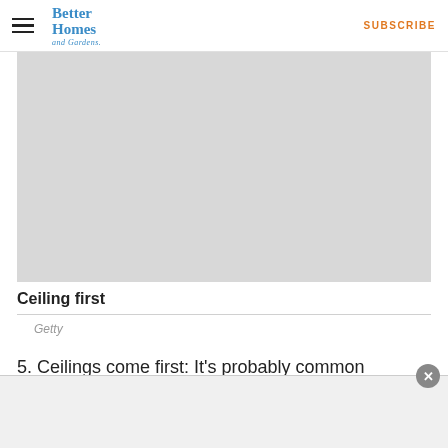Better Homes and Gardens | SUBSCRIBE
[Figure (photo): Large light gray placeholder image representing a ceiling painting scene]
Ceiling first
Getty
5. Ceilings come first: It's probably common knowledge that you should paint your ceiling first